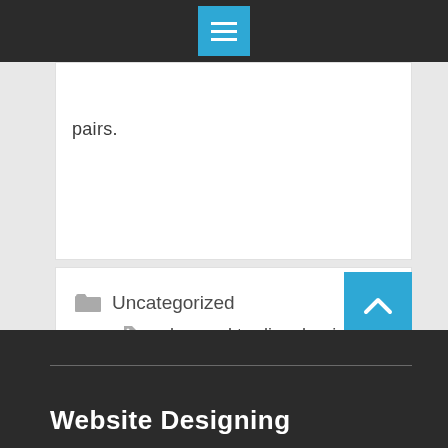pairs.
Uncategorized
advanced trading, begin trading, best cryptocurrency exchanges, Best Exchanges, best exchanges Bitcoin, crypto exchanges
36 Comments
Website Designing